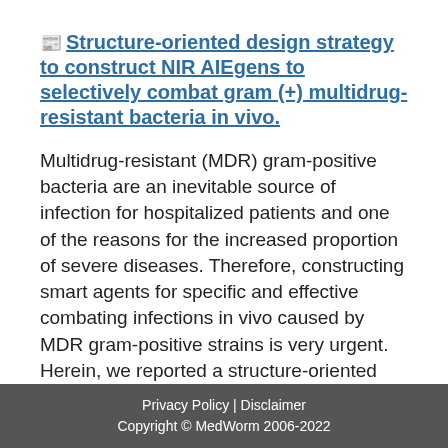Structure-oriented design strategy to construct NIR AIEgens to selectively combat gram (+) multidrug-resistant bacteria in vivo.
Multidrug-resistant (MDR) gram-positive bacteria are an inevitable source of infection for hospitalized patients and one of the reasons for the increased proportion of severe diseases. Therefore, constructing smart agents for specific and effective combating infections in vivo caused by MDR gram-positive strains is very urgent. Herein, we reported a structure-oriented design strategy (SODS) to reasonably construct an organic photo-antimicrobial near-infrared (NIR) AIEgen BDPTV equipped with a phenylboronic acid moiety, which could be bound to the thick peptidoglyeen layer of MDR gram-positive
Privacy Policy | Disclaimer
Copyright © MedWorm 2006-2022